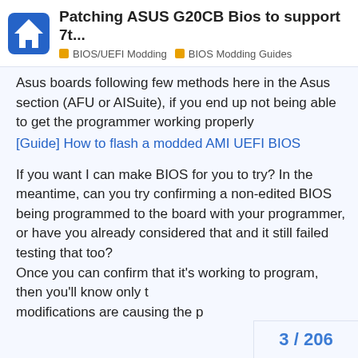Patching ASUS G20CB Bios to support 7t... | BIOS/UEFI Modding | BIOS Modding Guides
Asus boards following few methods here in the Asus section (AFU or AISuite), if you end up not being able to get the programmer working properly
[Guide] How to flash a modded AMI UEFI BIOS
If you want I can make BIOS for you to try? In the meantime, can you try confirming a non-edited BIOS being programmed to the board with your programmer, or have you already considered that and it still failed testing that too?
Once you can confirm that it's working to program, then you'll know only the BIOS modifications are causing the pr
3 / 206